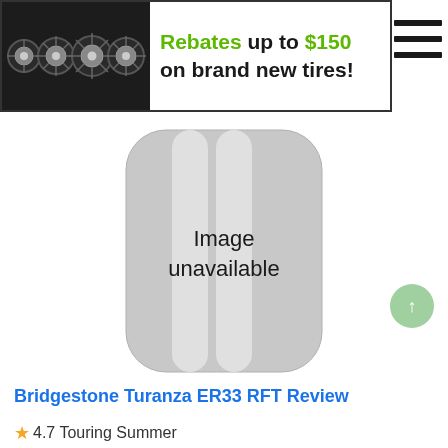[Figure (infographic): Banner ad with four tire images on dark background and text: Rebates up to $150 on brand new tires!]
[Figure (illustration): Tire image placeholder showing rounded rectangle with two vertical stripes and text 'Image unavailable']
Bridgestone Turanza ER33 RFT Review
★4.7 Touring Summer
Available tire sizes that fit Lexus GS460: